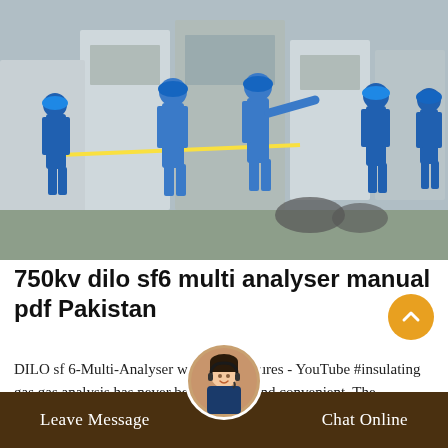[Figure (photo): Workers in blue uniforms and hard hats inspecting industrial electrical equipment outdoors]
750kv dilo sf6 multi analyser manual pdf Pakistan
DILO sf 6-Multi-Analyser with new features - YouTube #insulating gas gas analysis has never been so easy and convenient. The parameters which determine quality- insulating gas concentration- Moisture concentration- SO2 concentration...
Leave Message   Chat Online